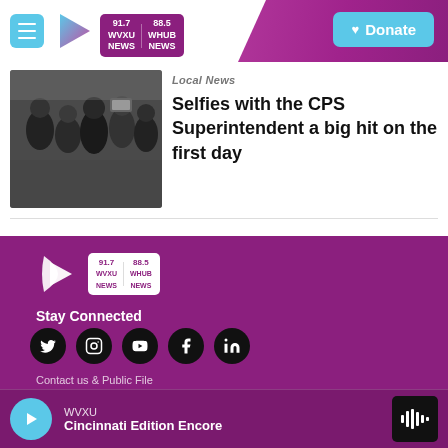91.7 WVXU NEWS | 88.5 WHUB NEWS | Donate
[Figure (photo): Group selfie photo of people including the CPS Superintendent on the first day of school]
Local News
Selfies with the CPS Superintendent a big hit on the first day
[Figure (logo): WVXU logo with play arrow — 91.7 WVXU NEWS | 88.5 WHUB NEWS]
Stay Connected
[Figure (infographic): Social media icons: Twitter, Instagram, YouTube, Facebook, LinkedIn]
WVXU — Cincinnati Edition Encore (audio player)